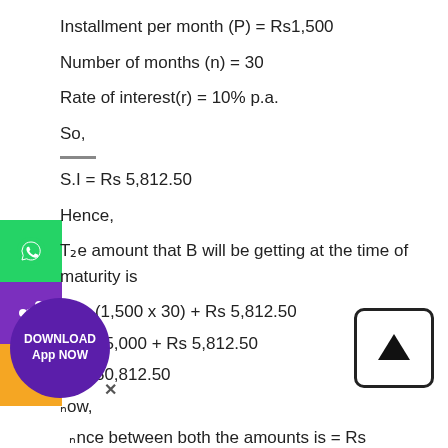Installment per month (P) = Rs1,500
Number of months (n) = 30
Rate of interest(r) = 10% p.a.
So,
S.I = Rs 5,812.50
Hence,
The amount that B will be getting at the time of maturity is
Rs (1,500 x 30) + Rs 5,812.50
Rs 45,000 + Rs 5,812.50
Rs 50,812.50
Now,
Difference between both the amounts is = Rs 50,812.50 – Rs
= Rs 952.50
Therefore, B will get more amount than A by Rs 952.50